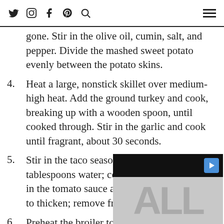Social media icons: Twitter, Instagram, Facebook, Pinterest, Search | Hamburger menu
3. (continuation) gone. Stir in the olive oil, cumin, salt, and pepper. Divide the mashed sweet potato evenly between the potato skins.
4. Heat a large, nonstick skillet over medium-high heat. Add the ground turkey and cook, breaking up with a wooden spoon, until cooked through. Stir in the garlic and cook until fragrant, about 30 seconds.
5. Stir in the taco seasoning and 2-3 tablespoons water; cook for 1-2 minutes. Stir in the tomato sauce and cook for 1-2 minutes to thicken; remove from heat.
6. Preheat the broiler to 550 degrees.
7. Spoon on the turk...